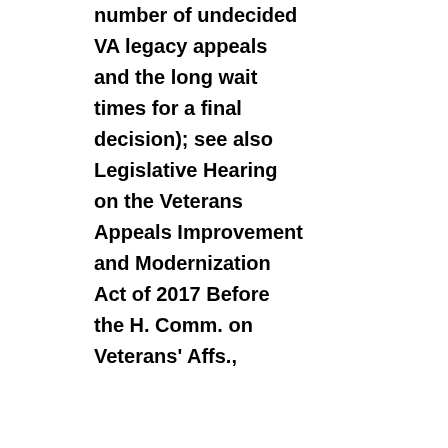number of undecided VA legacy appeals and the long wait times for a final decision); see also Legislative Hearing on the Veterans Appeals Improvement and Modernization Act of 2017 Before the H. Comm. on Veterans' Affs.,